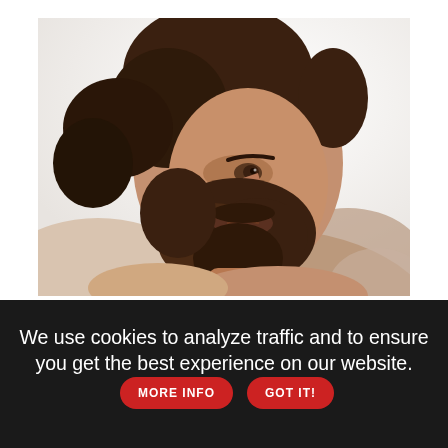[Figure (photo): A bearded man lying down, looking upward, shirtless or with clothing at shoulder, close-up portrait style photo with white background.]
Jonathan Agassi in a still from "Jonathan Agassi Saved My Life"
Israeli doc filmmaker Tomer Heymann first took note of adult male star Jonathan Agassi not through one of the Hustlaball award winner's movies, but rather through a chance encounter: Heymann had gone for a drink one evening and saw a handsome, confident young man jumping over the bar to kiss a bartender. That man was
We use cookies to analyze traffic and to ensure you get the best experience on our website. MORE INFO GOT IT!